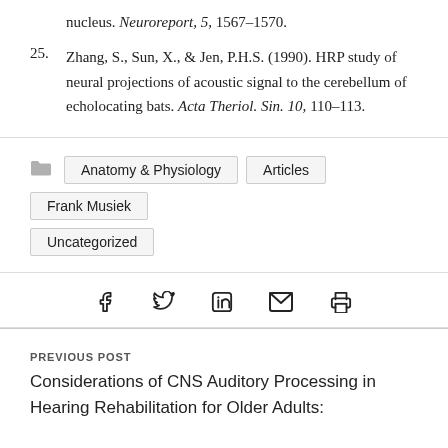nucleus. Neuroreport, 5, 1567–1570.
25. Zhang, S., Sun, X., & Jen, P.H.S. (1990). HRP study of neural projections of acoustic signal to the cerebellum of echolocating bats. Acta Theriol. Sin. 10, 110–113.
Anatomy & Physiology  Articles  Frank Musiek  Uncategorized
[Figure (infographic): Social share icons: Facebook, Twitter, LinkedIn, Email, Print]
PREVIOUS POST
Considerations of CNS Auditory Processing in Hearing Rehabilitation for Older Adults: